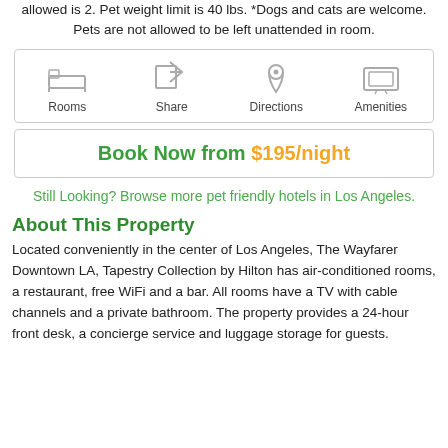allowed is 2. Pet weight limit is 40 lbs. *Dogs and cats are welcome. Pets are not allowed to be left unattended in room.
[Figure (infographic): Four icons in a bordered box: Rooms (bed icon), Share (share icon), Directions (location pin icon), Amenities (TV/amenities icon)]
Book Now from $195/night
Still Looking? Browse more pet friendly hotels in Los Angeles.
About This Property
Located conveniently in the center of Los Angeles, The Wayfarer Downtown LA, Tapestry Collection by Hilton has air-conditioned rooms, a restaurant, free WiFi and a bar. All rooms have a TV with cable channels and a private bathroom. The property provides a 24-hour front desk, a concierge service and luggage storage for guests. Guests at the hotel can enjoy an optional breakfast.